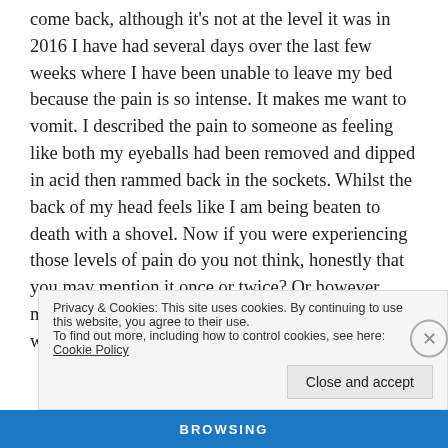come back, although it's not at the level it was in 2016 I have had several days over the last few weeks where I have been unable to leave my bed because the pain is so intense. It makes me want to vomit. I described the pain to someone as feeling like both my eyeballs had been removed and dipped in acid then rammed back in the sockets. Whilst the back of my head feels like I am being beaten to death with a shovel. Now if you were experiencing those levels of pain do you not think, honestly that you may mention it once or twice? Or however many times that you want to. Because believe me when you are dealing with that kind of pain you just
Privacy & Cookies: This site uses cookies. By continuing to use this website, you agree to their use.
To find out more, including how to control cookies, see here: Cookie Policy
Close and accept